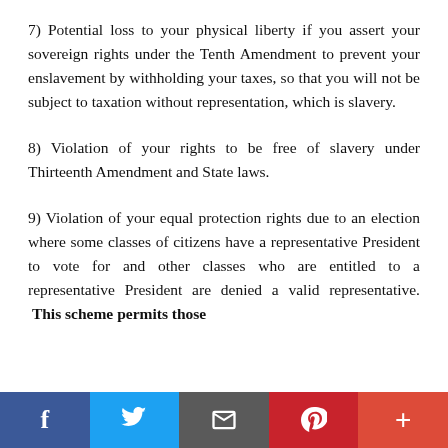7) Potential loss to your physical liberty if you assert your sovereign rights under the Tenth Amendment to prevent your enslavement by withholding your taxes, so that you will not be subject to taxation without representation, which is slavery.
8) Violation of your rights to be free of slavery under Thirteenth Amendment and State laws.
9) Violation of your equal protection rights due to an election where some classes of citizens have a representative President to vote for and other classes who are entitled to a representative President are denied a valid representative. This scheme permits those